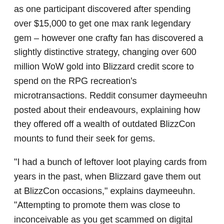as one participant discovered after spending over $15,000 to get one max rank legendary gem – however one crafty fan has discovered a slightly distinctive strategy, changing over 600 million WoW gold into Blizzard credit score to spend on the RPG recreation's microtransactions. Reddit consumer daymeeuhn posted about their endeavours, explaining how they offered off a wealth of outdated BlizzCon mounts to fund their seek for gems.
“I had a bunch of leftover loot playing cards from years in the past, when Blizzard gave them out at BlizzCon occasions,” explains daymeeuhn. “Attempting to promote them was close to inconceivable as you get scammed on digital gross sales so ceaselessly. They ended up sitting in a drawer gathering mud for ages.” With the arrival of Diablo Immortal on PC, they realised that in the event that they turned these into in-game gold, they might purchase WoW tokens from the MMORPG’s public sale home, which might then be transformed into $15 of Blizzard retailer credit score per token.